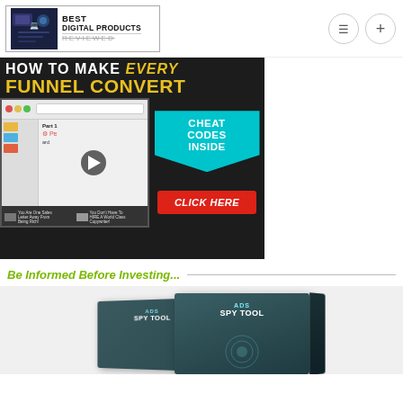BEST DIGITAL PRODUCTS REVIEWED
[Figure (screenshot): Marketing banner for funnel conversion product: dark background with bold yellow text 'HOW TO MAKE EVERY FUNNEL CONVERT', video thumbnail, and cyan 'CHEAT CODES INSIDE' arrow panel with red 'CLICK HERE' button]
Be Informed Before Investing...
[Figure (photo): Product box image showing 'ADS SPY TOOL' software box stacked, dark teal color with logo]